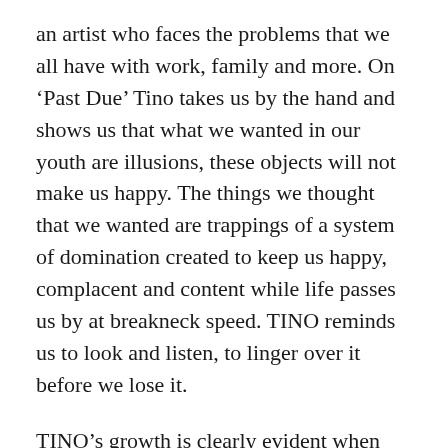an artist who faces the problems that we all have with work, family and more. On ‘Past Due’ Tino takes us by the hand and shows us that what we wanted in our youth are illusions, these objects will not make us happy. The things we thought that we wanted are trappings of a system of domination created to keep us happy, complacent and content while life passes us by at breakneck speed. TINO reminds us to look and listen, to linger over it before we lose it.
TINO’s growth is clearly evident when listening to his latest work and comparing past and present. The music has achieved another level. It is dense yet dance-able.If you listen to this